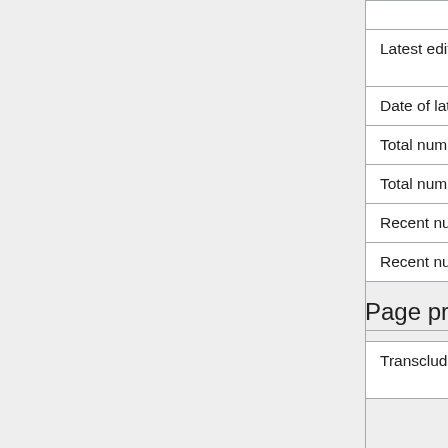|  |  |
| --- | --- |
| Latest editor | Ramirezdu06 (talk | contribs) |
| Date of latest edit | 00:31, 14 April 2022 |
| Total number of edits | 2 |
| Total number of distinct authors | 1 |
| Recent number of edits (within past 90 days) | 0 |
| Recent number of distinct authors | 0 |
Page properties
|  |  |
| --- | --- |
| Transcluded template (1) | Template:Native (view source) |